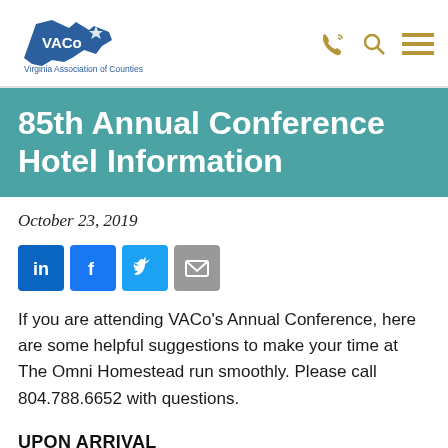VACo — Virginia Association of Counties
85th Annual Conference Hotel Information
October 23, 2019
[Figure (infographic): Social sharing icons: LinkedIn, Facebook, Twitter, Email]
If you are attending VACo's Annual Conference, here are some helpful suggestions to make your time at The Omni Homestead run smoothly. Please call 804.788.6652 with questions.
UPON ARRIVAL